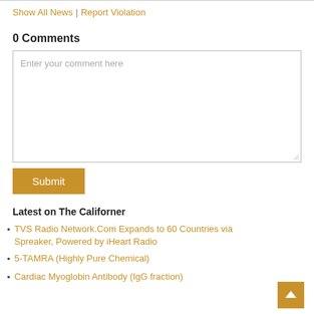Show All News | Report Violation
0 Comments
Enter your comment here
Submit
Latest on The Californer
TVS Radio Network.Com Expands to 60 Countries via Spreaker, Powered by iHeart Radio
5-TAMRA (Highly Pure Chemical)
Cardiac Myoglobin Antibody (IgG fraction)